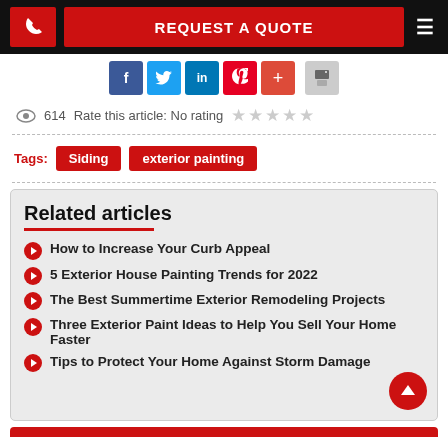REQUEST A QUOTE
[Figure (screenshot): Social share buttons: Facebook, Twitter, LinkedIn, Pinterest, Plus, Print]
614  Rate this article: No rating ★★★★★
Tags: Siding  exterior painting
Related articles
How to Increase Your Curb Appeal
5 Exterior House Painting Trends for 2022
The Best Summertime Exterior Remodeling Projects
Three Exterior Paint Ideas to Help You Sell Your Home Faster
Tips to Protect Your Home Against Storm Damage